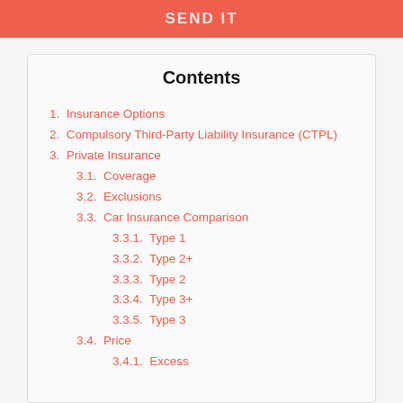SEND IT
Contents
1.  Insurance Options
2.  Compulsory Third-Party Liability Insurance (CTPL)
3.  Private Insurance
3.1.  Coverage
3.2.  Exclusions
3.3.  Car Insurance Comparison
3.3.1.  Type 1
3.3.2.  Type 2+
3.3.3.  Type 2
3.3.4.  Type 3+
3.3.5.  Type 3
3.4.  Price
3.4.1.  Excess